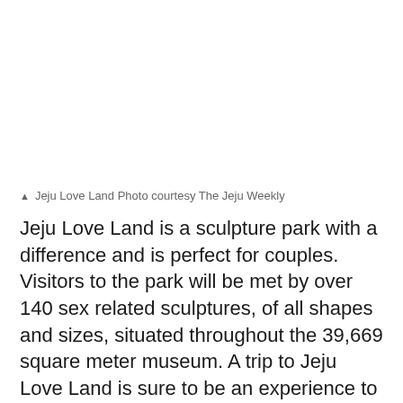[Figure (photo): Photograph of Jeju Love Land sculpture park (image area appears blank/white in this crop)]
▲ Jeju Love Land Photo courtesy The Jeju Weekly
Jeju Love Land is a sculpture park with a difference and is perfect for couples. Visitors to the park will be met by over 140 sex related sculptures, of all shapes and sizes, situated throughout the 39,669 square meter museum. A trip to Jeju Love Land is sure to be an experience to remember and the sculptures and exhibits at the park will fill your day (and your relationship) with fun, humor, relaxation, and, of course, a little bit of eroticism. Love Land also has a restaurant, open-air caf